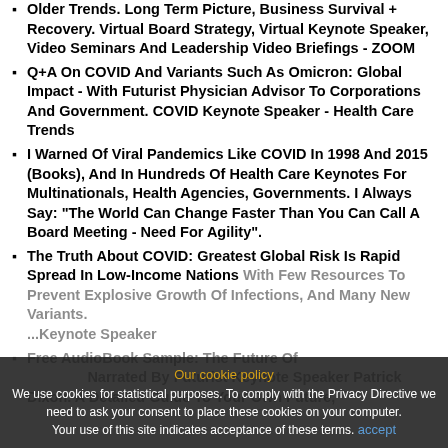Older Trends. Long Term Picture, Business Survival + Recovery. Virtual Board Strategy, Virtual Keynote Speaker, Video Seminars And Leadership Video Briefings - ZOOM
Q+A On COVID And Variants Such As Omicron: Global Impact - With Futurist Physician Advisor To Corporations And Government. COVID Keynote Speaker - Health Care Trends
I Warned Of Viral Pandemics Like COVID In 1998 And 2015 (Books), And In Hundreds Of Health Care Keynotes For Multinationals, Health Agencies, Governments. I Always Say: "The World Can Change Faster Than You Can Call A Board Meeting - Need For Agility".
The Truth About COVID: Greatest Global Risk Is Rapid Spread In Low-Income Nations With Few Resources To Prevent Explosive Growth Of Infections, And Many New Variants. [faded] ...Keynote Speaker
Free AudioBook Sample: The Future Of [faded] ...Narrated By Futurist Keynote Speaker Patrick Dixon. A Detailed Guide To Your Own Future,
Our cookie policy
We use cookies for statistical purposes. To comply with the Privacy Directive we need to ask your consent to place these cookies on your computer.
Your use of this site indicates acceptance of these terms. [accept]